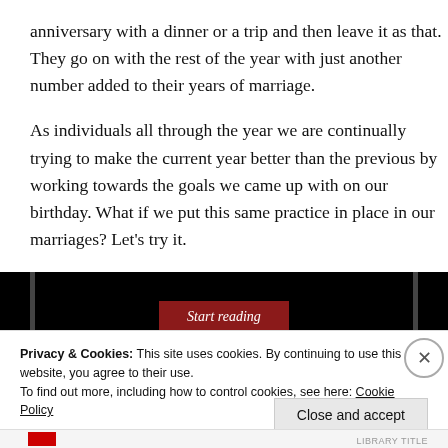anniversary with a dinner or a trip and then leave it as that. They go on with the rest of the year with just another number added to their years of marriage.
As individuals all through the year we are continually trying to make the current year better than the previous by working towards the goals we came up with on our birthday. What if we put this same practice in place in our marriages? Let's try it.
[Figure (screenshot): Black banner image with a red 'Start reading' button in the center and vertical gray bars on left and right sides.]
Privacy & Cookies: This site uses cookies. By continuing to use this website, you agree to their use.
To find out more, including how to control cookies, see here: Cookie Policy
Close and accept